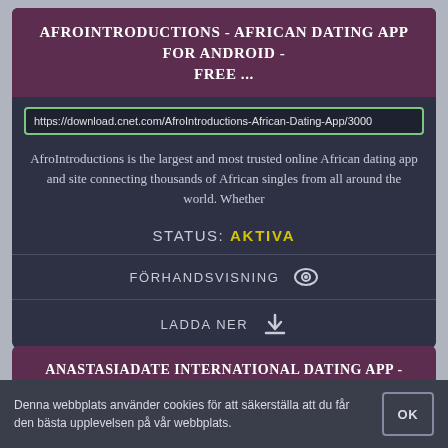AFROINTRODUCTIONS - AFRICAN DATING APP FOR ANDROID - FREE ...
https://download.cnet.com/AfroIntroductions-African-Dating-App/3000
AfroIntroductions is the largest and most trusted online African dating app and site connecting thousands of African singles from all around the world. Whether
STATUS: AKTIVA
FÖRHANDSVISNING
LADDA NER
ANASTASIADATE INTERNATIONAL DATING APP - FREE DOWNLOADS ...
Denna webbplats använder cookies för att säkerställa att du får den bästa upplevelsen på vår webbplats.